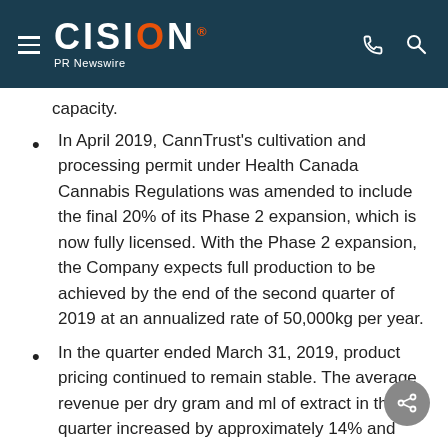CISION PR Newswire
capacity.
In April 2019, CannTrust's cultivation and processing permit under Health Canada Cannabis Regulations was amended to include the final 20% of its Phase 2 expansion, which is now fully licensed. With the Phase 2 expansion, the Company expects full production to be achieved by the end of the second quarter of 2019 at an annualized rate of 50,000kg per year.
In the quarter ended March 31, 2019, product pricing continued to remain stable. The average revenue per dry gram and ml of extract in the quarter increased by approximately 14% and [%]